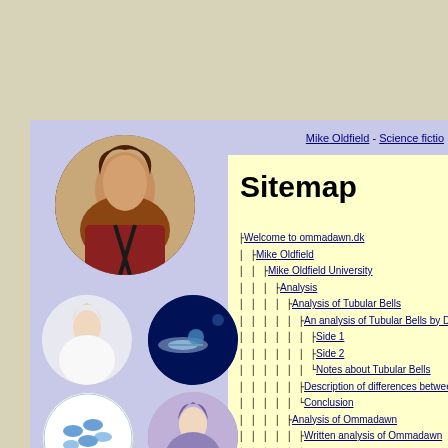Mike Oldfield - Science fictio...
Sitemap
Welcome to ommadawn.dk
Mike Oldfield
Mike Oldfield University
Analysis
Analysis of Tubular Bells
An analysis of Tubular Bells by David Be...
Side 1
Side 2
Notes about Tubular Bells
Description of differences between TB an...
Conclusion
Analysis of Ommadawn
Written analysis of Ommadawn
Analyse af Ommadawn, norsk
[Figure (photo): Circular photo of Mike Oldfield]
[Figure (photo): Circular photo of a woman in white]
[Figure (photo): Circular photo of space/satellite]
[Figure (logo): Circular logo: Libellus]
[Figure (photo): Circular photo of a woman]